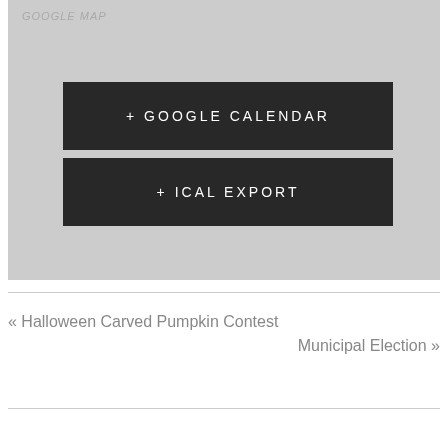[Figure (map): Google Map placeholder area — grey background with 'GOOGLE MAP' label in top-left]
+ GOOGLE CALENDAR
+ ICAL EXPORT
« Halloween Carved Pumpkin Contest
Municipal Election »